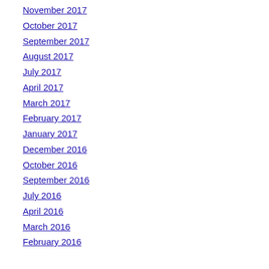November 2017
October 2017
September 2017
August 2017
July 2017
April 2017
March 2017
February 2017
January 2017
December 2016
October 2016
September 2016
July 2016
April 2016
March 2016
February 2016